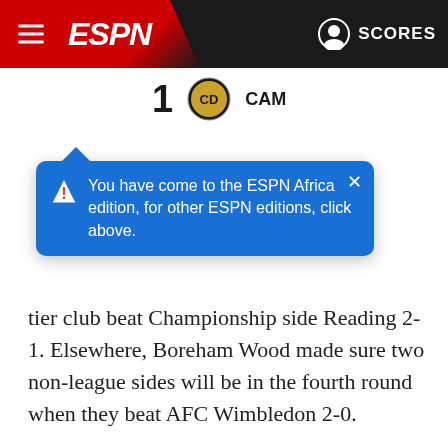ESPN - SCORES
[Figure (screenshot): ESPN navigation bar with red background, hamburger menu, ESPN logo, user icon and SCORES text]
[Figure (infographic): Blue tooltip popup saying: You have come to the ESPN Africa edition, for other ESPN editions, click above. With close X button.]
[Figure (infographic): Score display showing 1 with CAM team logo and name]
tier club beat Championship side Reading 2-1. Elsewhere, Boreham Wood made sure two non-league sides will be in the fourth round when they beat AFC Wimbledon 2-0.